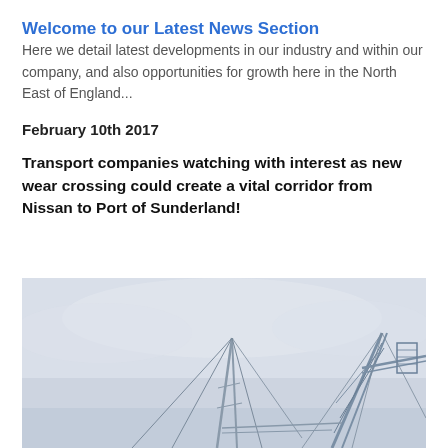Welcome to our Latest News Section
Here we detail latest developments in our industry and within our company, and also opportunities for growth here in the North East of England...
February 10th 2017
Transport companies watching with interest as new wear crossing could create a vital corridor from Nissan to Port of Sunderland!
[Figure (photo): Construction cranes and steel structure against a pale grey overcast sky, showing what appears to be bridge or large infrastructure construction work near Sunderland.]